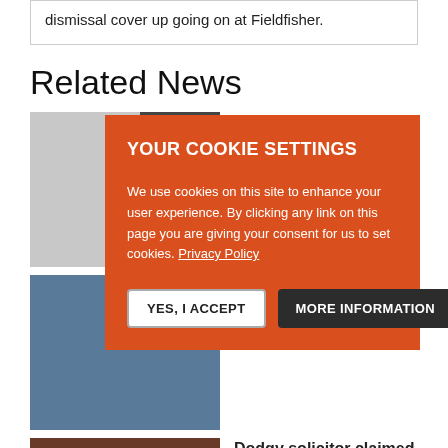dismissal cover up going on at Fieldfisher.
Related News
[Figure (photo): Grey placeholder image with dark bar at top right]
Panicking solicitor
[Figure (photo): Photo of a person in front of a court building (Royal Courts of Justice)]
r court…
[Figure (photo): Dark reddish-brown placeholder image]
Dodgy solicitor claimed
YOUR COOKIE SETTINGS
We use cookies on this site to enhance your user experience. By clicking any link on this page you are giving your consent for us to set cookies. Privacy Policy
YES, I ACCEPT   MORE INFORMATION